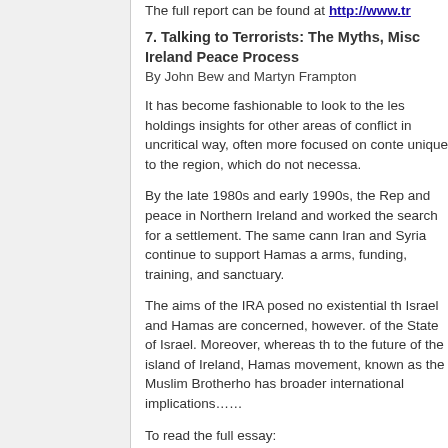The full report can be found at http://www.tr...
7. Talking to Terrorists: The Myths, Misc... Ireland Peace Process
By John Bew and Martyn Frampton
It has become fashionable to look to the les... holding insights for other areas of conflict in... uncritical way, often more focused on conte... unique to the region, which do not necessa...
By the late 1980s and early 1990s, the Rep... and peace in Northern Ireland and worked ... the search for a settlement. The same cann... Iran and Syria continue to support Hamas a... arms, funding, training, and sanctuary.
The aims of the IRA posed no existential th... Israel and Hamas are concerned, however.... of the State of Israel. Moreover, whereas th... to the future of the island of Ireland, Hamas... movement, known as the Muslim Brotherho... has broader international implications……
To read the full essay: